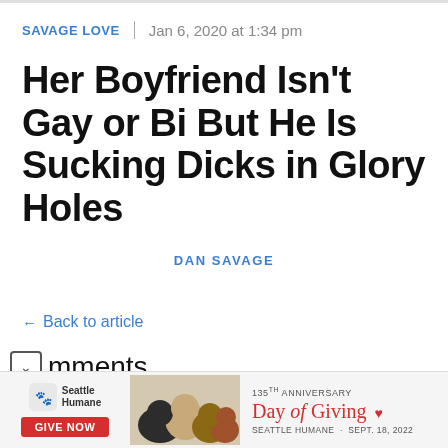SAVAGE LOVE | Jan 6, 2020 at 1:34 pm
Her Boyfriend Isn't Gay or Bi But He Is Sucking Dicks in Glory Holes
DAN SAVAGE
← Back to article
Comments
[Figure (photo): Advertisement banner for Seattle Humane 135th Anniversary Day of Giving, featuring puppies and dogs, with a Give Now button and text reading SEATTLE HUMANE · SEPT. 18, 2022]